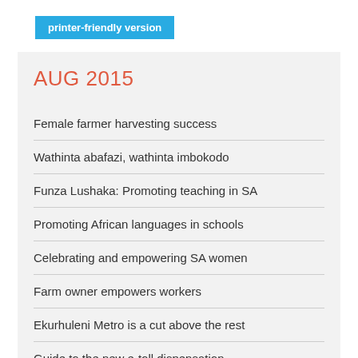[Figure (other): Blue button labeled 'printer-friendly version']
AUG 2015
Female farmer harvesting success
Wathinta abafazi, wathinta imbokodo
Funza Lushaka: Promoting teaching in SA
Promoting African languages in schools
Celebrating and empowering SA women
Farm owner empowers workers
Ekurhuleni Metro is a cut above the rest
Guide to the new e-toll dispensation